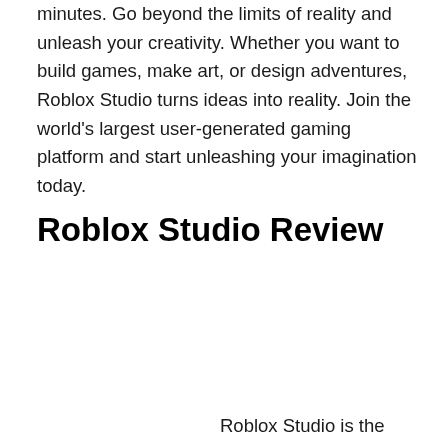minutes. Go beyond the limits of reality and unleash your creativity. Whether you want to build games, make art, or design adventures, Roblox Studio turns ideas into reality. Join the world's largest user-generated gaming platform and start unleashing your imagination today.
Roblox Studio Review
Roblox Studio is the ultimate